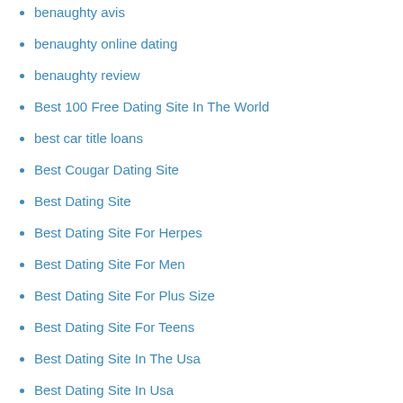benaughty avis
benaughty online dating
benaughty review
Best 100 Free Dating Site In The World
best car title loans
Best Cougar Dating Site
Best Dating Site
Best Dating Site For Herpes
Best Dating Site For Men
Best Dating Site For Plus Size
Best Dating Site For Teens
Best Dating Site In The Usa
Best Dating Site In Usa
Best Dating Site Profiles
Best Dating Site Questions
Best Dating Site To Meet Wealthy Men